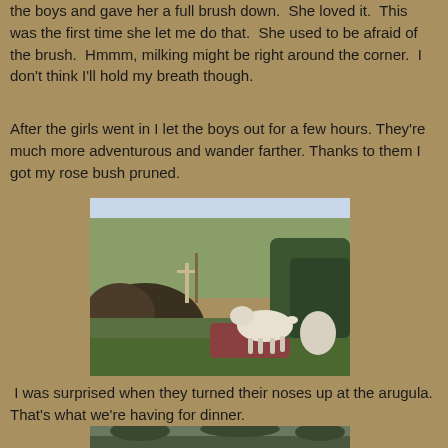the boys and gave her a full brush down.  She loved it.  This was the first time she let me do that.  She used to be afraid of the brush.  Hmmm, milking might be right around the corner.  I don't think I'll hold my breath though.
After the girls went in I let the boys out for a few hours. They're much more adventurous and wander farther. Thanks to them I got my rose bush pruned.
[Figure (photo): Outdoor garden scene with a white goat grazing/browsing on shrubs, trees in the background, winter or late fall setting]
I was surprised when they turned their noses up at the arugula.  That's what we're having for dinner.
[Figure (photo): Outdoor winter scene, partially visible at bottom of page]